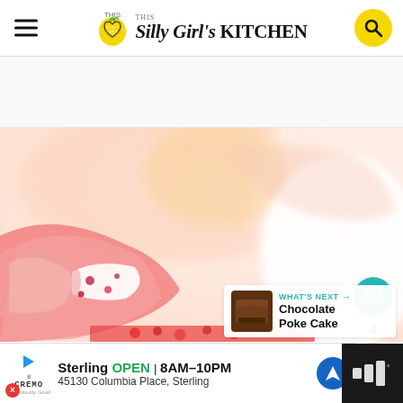This Silly Girl's KITCHEN
[Figure (photo): Close-up food photo of a pink frosted cake or dessert with white cream and red berries, blurred background]
4
WHAT'S NEXT → Chocolate Poke Cake
[Figure (photo): Small thumbnail of Chocolate Poke Cake]
Sterling  OPEN  8AM–10PM  45130 Columbia Place, Sterling